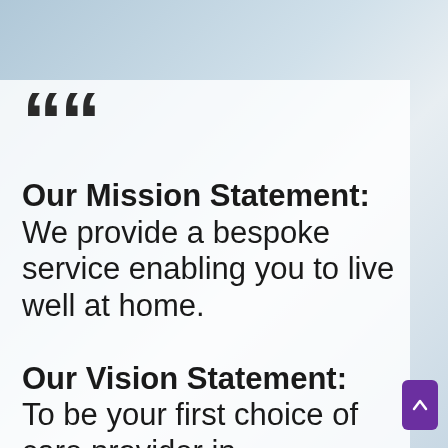[Figure (photo): Background photo of people, blurred, with a semi-transparent white overlay panel]
““
Our Mission Statement: We provide a bespoke service enabling you to live well at home.

Our Vision Statement: To be your first choice of care provider in Scotland